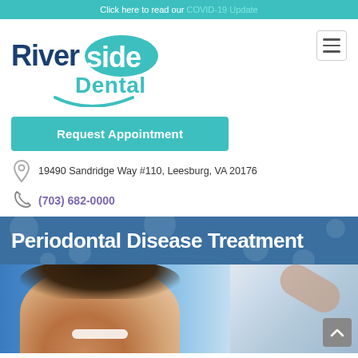Click here to read our COVID-19 Update
[Figure (logo): Riverside Dental logo with teal swoosh/smile icon]
Request Appointment
19490 Sandridge Way #110, Leesburg, VA 20176
(703) 682-0000
Periodontal Disease Treatment
[Figure (photo): Smiling young woman patient at dental office with dentist in background]